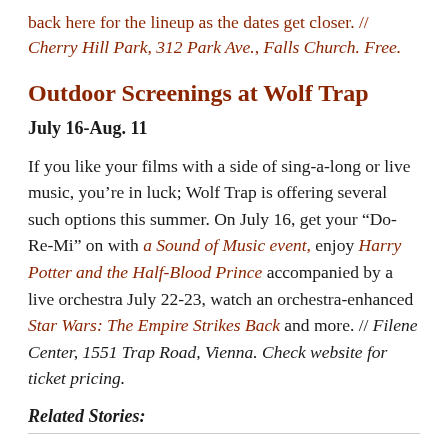back here for the lineup as the dates get closer. // Cherry Hill Park, 312 Park Ave., Falls Church. Free.
Outdoor Screenings at Wolf Trap
July 16-Aug. 11
If you like your films with a side of sing-a-long or live music, you’re in luck; Wolf Trap is offering several such options this summer. On July 16, get your “Do-Re-Mi” on with a Sound of Music event, enjoy Harry Potter and the Half-Blood Prince accompanied by a live orchestra July 22-23, watch an orchestra-enhanced Star Wars: The Empire Strikes Back and more. // Filene Center, 1551 Trap Road, Vienna. Check website for ticket pricing.
Related Stories: